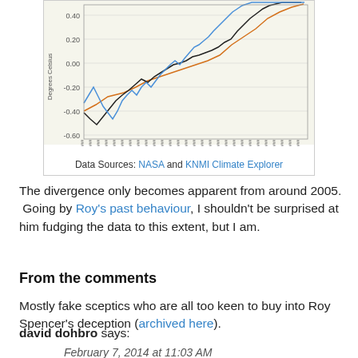[Figure (continuous-plot): A line chart showing temperature anomaly (Degrees Celsius) over time with three lines: black, orange, and blue. The chart shows values ranging from about -0.60 to 0.40+ Celsius. A divergence between the lines becomes apparent from around 2005, with the blue line rising highest.]
Data Sources: NASA and KNMI Climate Explorer
The divergence only becomes apparent from around 2005.  Going by Roy's past behaviour, I shouldn't be surprised at him fudging the data to this extent, but I am.
From the comments
Mostly fake sceptics who are all too keen to buy into Roy Spencer's deception (archived here).
david dohbro says:
February 7, 2014 at 11:03 AM